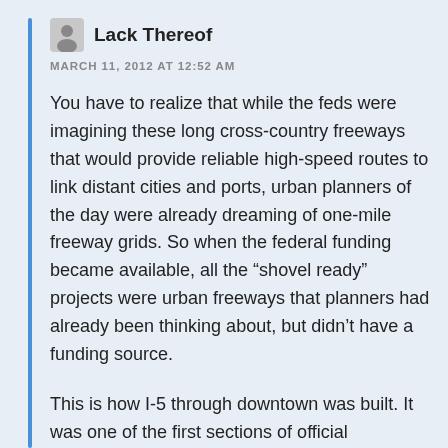Lack Thereof
MARCH 11, 2012 AT 12:52 AM
You have to realize that while the feds were imagining these long cross-country freeways that would provide reliable high-speed routes to link distant cities and ports, urban planners of the day were already dreaming of one-mile freeway grids. So when the federal funding became available, all the “shovel ready” projects were urban freeways that planners had already been thinking about, but didn’t have a funding source.
This is how I-5 through downtown was built. It was one of the first sections of official